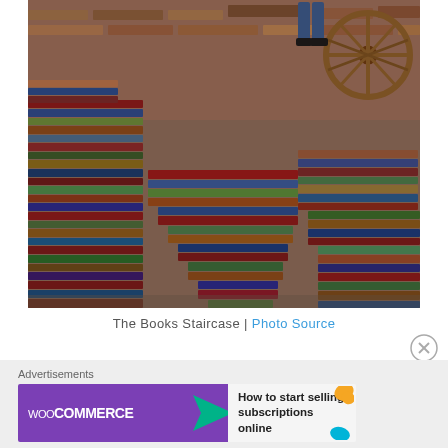[Figure (photo): A large pile of old, colorful books stacked like a staircase with a person standing at the top. A wooden wagon wheel is visible in the upper right. The setting appears to be an outdoor book market or eclectic bookshop.]
The Books Staircase | Photo Source
[Figure (other): WooCommerce advertisement banner reading 'How to start selling subscriptions online']